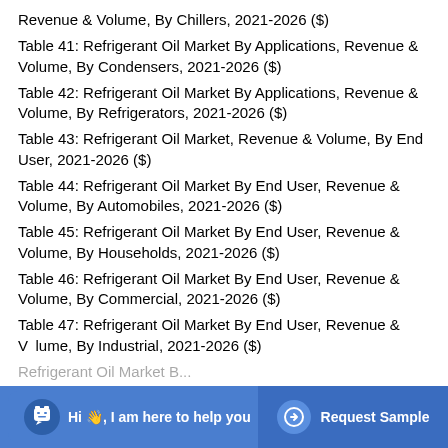Revenue & Volume, By Chillers, 2021-2026 ($)
Table 41: Refrigerant Oil Market By Applications, Revenue & Volume, By Condensers, 2021-2026 ($)
Table 42: Refrigerant Oil Market By Applications, Revenue & Volume, By Refrigerators, 2021-2026 ($)
Table 43: Refrigerant Oil Market, Revenue & Volume, By End User, 2021-2026 ($)
Table 44: Refrigerant Oil Market By End User, Revenue & Volume, By Automobiles, 2021-2026 ($)
Table 45: Refrigerant Oil Market By End User, Revenue & Volume, By Households, 2021-2026 ($)
Table 46: Refrigerant Oil Market By End User, Revenue & Volume, By Commercial, 2021-2026 ($)
Table 47: Refrigerant Oil Market By End User, Revenue & Volume, By Industrial, 2021-2026 ($)